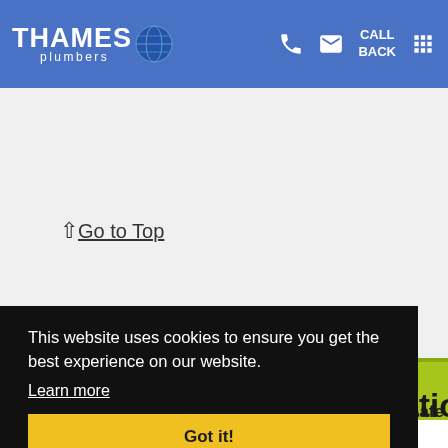THAMES plumbers — Call Back, phone, email, menu icons
↑ Go to Top
🔧 Central Heating Installation
This website uses cookies to ensure you get the best experience on our website.
Learn more
Got it!
Safe
Registered and NICEIC approved engineers with years